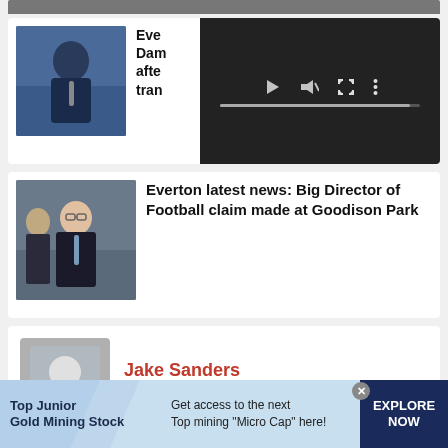[Figure (photo): Partial top of a news card showing a cropped photo]
[Figure (photo): Photo of Rafa Benitez gesturing on the sideline in a blue suit, partially obscured by video player overlay]
[Figure (screenshot): Dark video player overlay with play, mute, fullscreen, and more-options icons and a progress bar]
[Figure (photo): Photo of a man in a dark suit at a stadium, Director of Football figure at Goodison Park]
Everton latest news: Big Director of Football claim made at Goodison Park
[Figure (illustration): Grey silhouette avatar placeholder for Jake Sanders author profile]
Jake Sanders
Interested in: Football
Top Junior Gold Mining Stock  Get access to the next Top mining "Micro Cap" here!  EXPLORE NOW